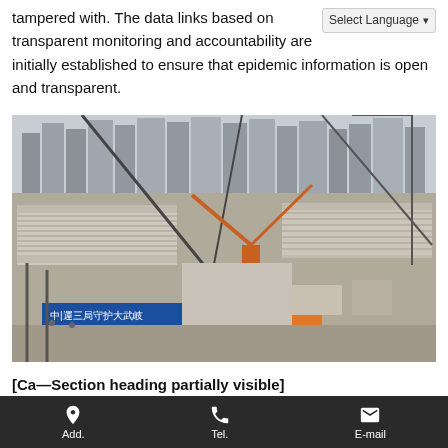tampered with. The data links based on transparent monitoring and accountability are initially established to ensure that epidemic information is open and transparent.
[Figure (photo): Aerial view of a large construction site in Wuhan, China, with cranes and prefabricated structures being assembled, with high-rise buildings visible in the background and Chinese text banners in the foreground.]
[Section heading partially visible, cut off]
Add.   Tel.   E-mail